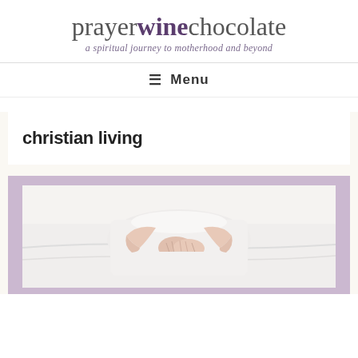prayerwinechocolate — a spiritual journey to motherhood and beyond
≡  Menu
christian living
[Figure (photo): A person lying on white fabric/bedding, hands clasped together on their torso, framed by a lavender/purple border.]